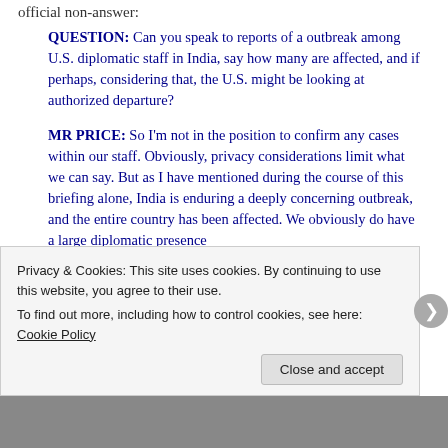official non-answer:
QUESTION: Can you speak to reports of a outbreak among U.S. diplomatic staff in India, say how many are affected, and if perhaps, considering that, the U.S. might be looking at authorized departure?
MR PRICE: So I'm not in the position to confirm any cases within our staff. Obviously, privacy considerations limit what we can say. But as I have mentioned during the course of this briefing alone, India is enduring a deeply concerning outbreak, and the entire country has been affected. We obviously do have a large diplomatic presence
Privacy & Cookies: This site uses cookies. By continuing to use this website, you agree to their use.
To find out more, including how to control cookies, see here: Cookie Policy
Close and accept